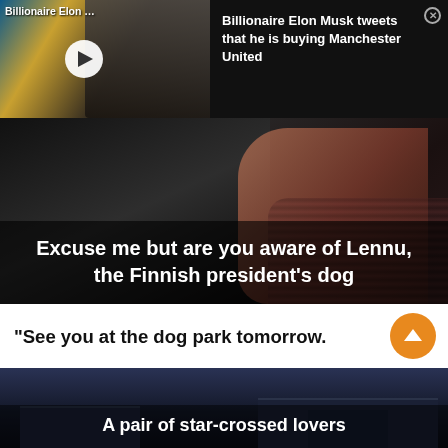[Figure (screenshot): Video thumbnail showing Billionaire Elon Musk with play button overlay, labeled 'Billionaire Elon …']
Billionaire Elon Musk tweets that he is buying Manchester United
[Figure (photo): Close-up photo of a person in formal suit with hand gesture, with overlaid text caption]
Excuse me but are you aware of Lennu, the Finnish president's dog
“See you at the dog park tomorrow.
[Figure (photo): Dark photo of buildings at night with caption overlay]
A pair of star-crossed lovers